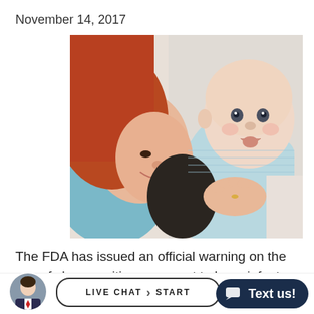November 14, 2017
[Figure (photo): A smiling woman with red hair lying beside a baby dressed in a light blue onesie, both appearing close and happy on a white surface.]
The FDA has issued an official warning on the use of sleep positioners meant to keep infants under the age of six months from rolling over.
[Figure (screenshot): Bottom navigation bar showing an avatar photo of a man in a suit, a 'LIVE CHAT > START' pill button, and a dark 'Text us!' button with a chat icon.]